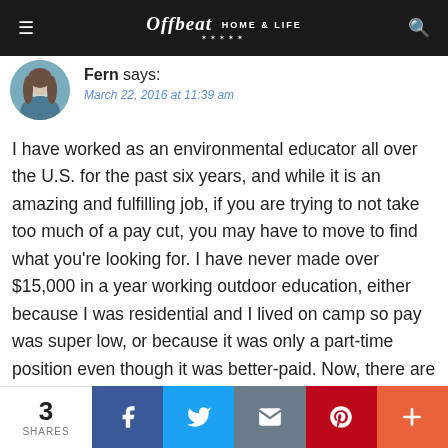Offbeat Home & Life
Fern says:
March 22, 2016 at 11:39 am
I have worked as an environmental educator all over the U.S. for the past six years, and while it is an amazing and fulfilling job, if you are trying to not take too much of a pay cut, you may have to move to find what you're looking for. I have never made over $15,000 in a year working outdoor education, either because I was residential and I lived on camp so pay was super low, or because it was only a part-time position even though it was better-paid. Now, there are some great nature-center jobs, etc, and there are also administrative jobs that pay more, but all of those tend to be much more competitive (although I'm sure having a teaching
3 SHARES | Facebook | Twitter | Email | Pinterest | More